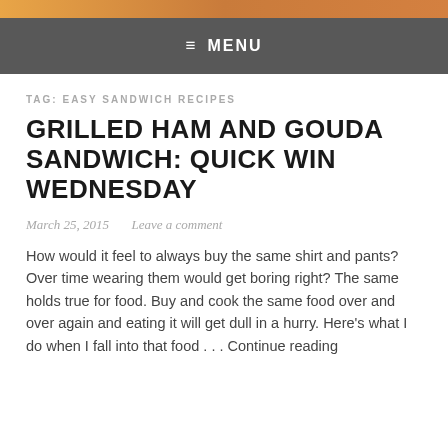[Figure (photo): Orange/amber gradient image strip at top of page]
≡ MENU
TAG: EASY SANDWICH RECIPES
GRILLED HAM AND GOUDA SANDWICH: QUICK WIN WEDNESDAY
March 25, 2015   Leave a comment
How would it feel to always buy the same shirt and pants? Over time wearing them would get boring right? The same holds true for food. Buy and cook the same food over and over again and eating it will get dull in a hurry. Here's what I do when I fall into that food . . . Continue reading